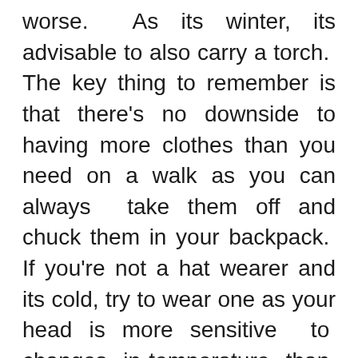worse.  As its winter, its advisable to also carry a torch.  The key thing to remember is that there's no downside to having more clothes than you need on a walk as you can always  take them off and chuck them in your backpack.  If you're not a hat wearer and its cold, try to wear one as your head is more sensitive  to  changes  in temperature  than  most  of your body, and without one you'll feel colder.

If you've heard that you lose 80% of heat from your head,